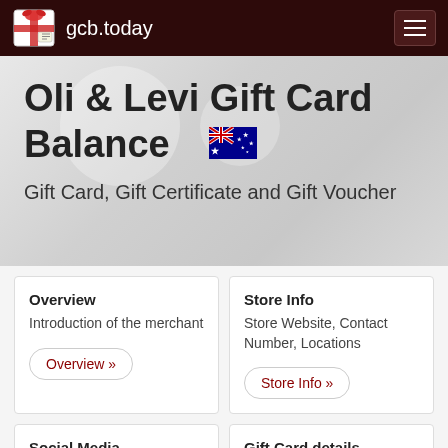gcb.today
Oli & Levi Gift Card Balance 🇦🇺
Gift Card, Gift Certificate and Gift Voucher
Overview
Introduction of the merchant
Overview »
Store Info
Store Website, Contact Number, Locations
Store Info »
Social Media
Gift Card details